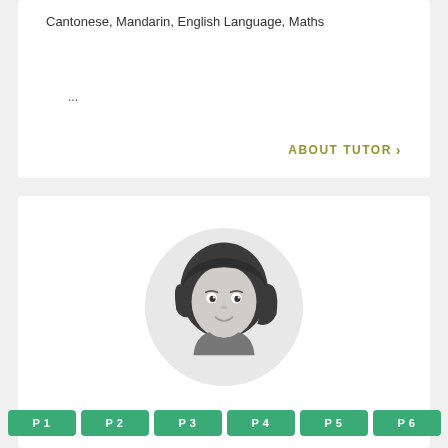Cantonese, Mandarin, English Language, Maths
...
ABOUT TUTOR >
[Figure (illustration): Cartoon avatar of a girl with dark hair, smiling, shown from the shoulders up inside a circular grey background]
P1
P2
P3
P4
P5
P6